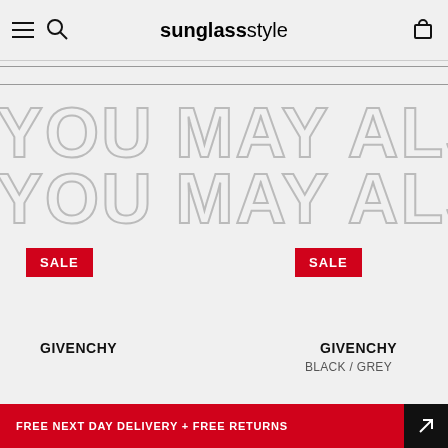sunglasstyle — navigation header with hamburger menu, search, and bag icons
YOU MAY ALSO LIKE
SALE
SALE
GIVENCHY
GIVENCHY
BLACK / GREY
FREE NEXT DAY DELIVERY + FREE RETURNS
NZD  NZD
NZD  NZD